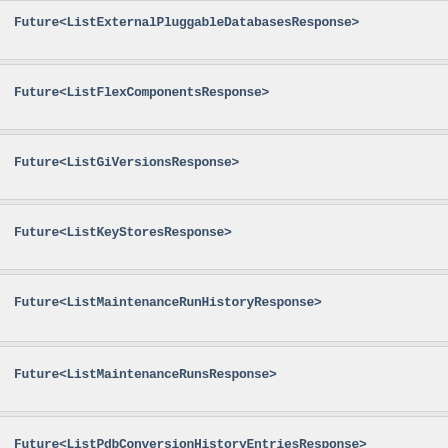Future<ListExternalPluggableDatabasesResponse>
Future<ListFlexComponentsResponse>
Future<ListGiVersionsResponse>
Future<ListKeyStoresResponse>
Future<ListMaintenanceRunHistoryResponse>
Future<ListMaintenanceRunsResponse>
Future<ListPdbConversionHistoryEntriesResponse>